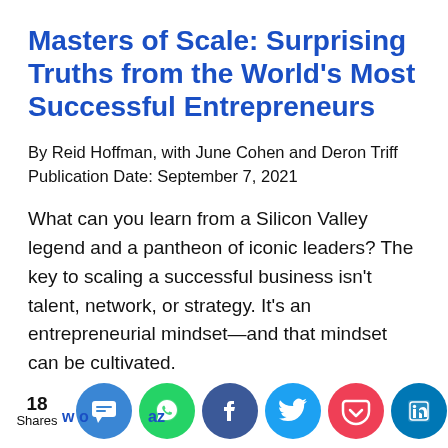Masters of Scale: Surprising Truths from the World's Most Successful Entrepreneurs
By Reid Hoffman, with June Cohen and Deron Triff
Publication Date: September 7, 2021
What can you learn from a Silicon Valley legend and a pantheon of iconic leaders? The key to scaling a successful business isn't talent, network, or strategy. It's an entrepreneurial mindset—and that mindset can be cultivated.
[Figure (infographic): Social share bar showing 18 Shares count and share buttons for SMS, WhatsApp, Facebook, Twitter, Pocket, and LinkedIn]